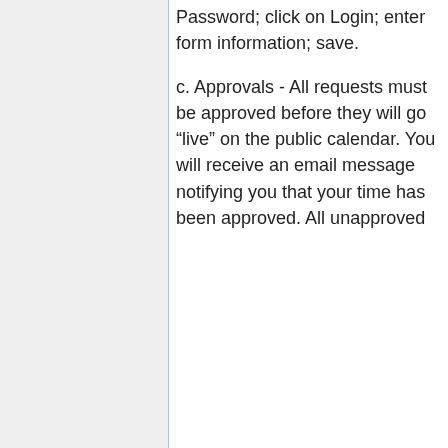Password; click on Login; enter form information; save.
c. Approvals - All requests must be approved before they will go “live” on the public calendar. You will receive an email message notifying you that your time has been approved. All unapproved